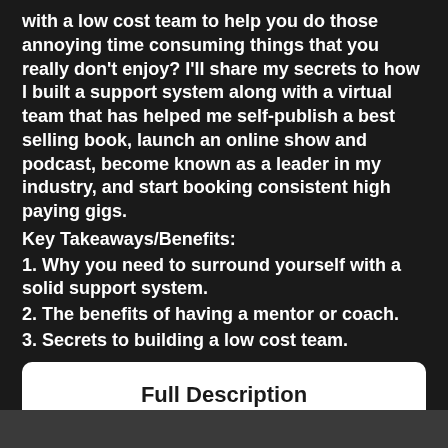with a low cost team to help you do those annoying time consuming things that you really don't enjoy? I'll share my secrets to how I built a support system along with a virtual team that has helped me self-publish a best selling book, launch an online show and podcast, become known as a leader in my industry, and start booking consistent high paying gigs.
Key Takeaways/Benefits:
1. Why you need to surround yourself with a solid support system.
2. The benefits of having a mentor or coach.
3. Secrets to building a low cost team.
Full Description